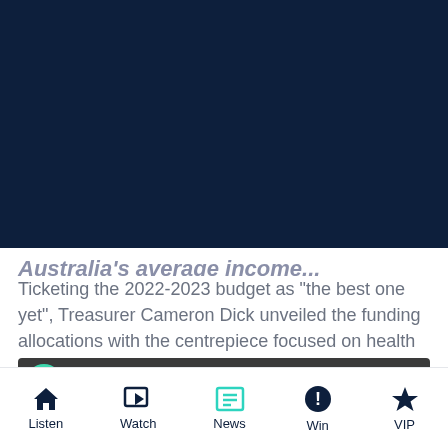[Figure (screenshot): Dark navy blue header background area at top of mobile app page]
Australia's average income...
Ticketing the 2022-2023 budget as "the best one yet", Treasurer Cameron Dick unveiled the funding allocations with the centrepiece focused on health spending.
Stay up-to-date on the latest news with The Queensland Briefing – keeping you in the loop with news as it hits
[Figure (screenshot): Audio player widget with play button, waveform indicator, and progress bar]
Listen  Watch  News  Win  VIP